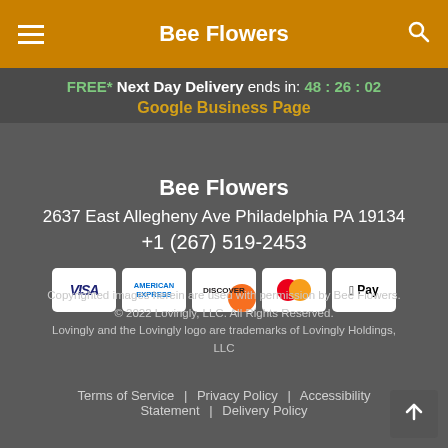Bee Flowers
FREE* Next Day Delivery ends in: 48:26:02
Google Business Page
Bee Flowers
2637 East Allegheny Ave Philadelphia PA 19134
+1 (267) 519-2453
[Figure (other): Payment method icons: Visa, American Express, Discover, Mastercard, Apple Pay]
Copyrighted images herein are used with permission by Bee Flowers. © 2022 Lovingly, LLC. All Rights Reserved. Lovingly and the Lovingly logo are trademarks of Lovingly Holdings, LLC
Terms of Service | Privacy Policy | Accessibility Statement | Delivery Policy